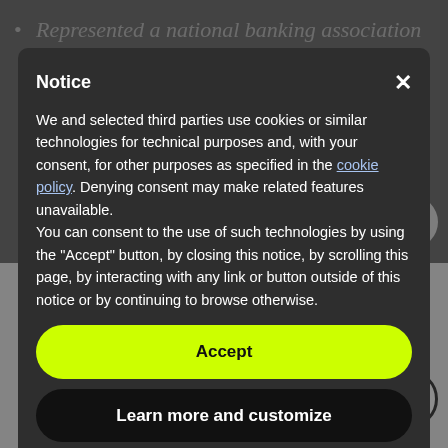Represented a national banking association in resolving over 1,600 distressed loans, including commercial real estate, SBA loans, and multi-family. Private label residential construction loans and 30+ day residential investment properties
of its securitized SBA loan portfolio purchased from GE Capital, including the resolution of over $50mm in SBA loans and navigating loan servicer
Represented a national banking association in the management of its securitized SBA loan portfolio purchased from GE Capital, including the resolution of over $50mm in SBA loans and navigating loan servicer
Notice

We and selected third parties use cookies or similar technologies for technical purposes and, with your consent, for other purposes as specified in the cookie policy. Denying consent may make related features unavailable.
You can consent to the use of such technologies by using the "Accept" button, by closing this notice, by scrolling this page, by interacting with any link or button outside of this notice or by continuing to browse otherwise.
Accept
Learn more and customize